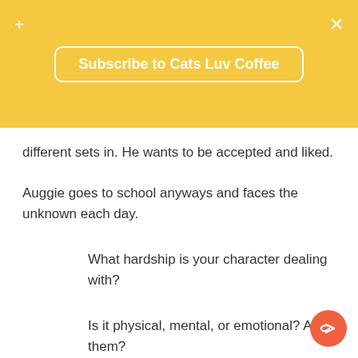Subscribe to Cats Luv Coffee
different sets in. He wants to be accepted and liked. Auggie goes to school anyways and faces the unknown each day.
What hardship is your character dealing with?
Is it physical, mental, or emotional? All of them?
What would your character/characters have to do to face that pain? The next step forward?
What is one thing that your character wants and is in search of?
› Hazel wants to be understood (friendship